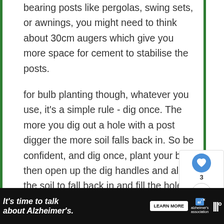bearing posts like pergolas, swing sets, or awnings, you might need to think about 30cm augers which give you more space for cement to stabilise the posts.
for bulb planting though, whatever you use, it's a simple rule - dig once. The more you dig out a hole with a post digger the more soil falls back in. So be confident, and dig once, plant your bulb, then open up the dig handles and allow the soil to fall back in and fill the hole.
[Figure (screenshot): Social media UI overlay: heart/like button (blue circle with heart icon), share count showing 3, share button, Privacy-Terms link, and What's Next panel showing 'Best Retractable...' with thumbnail]
[Figure (screenshot): Advertisement bar at bottom: black background with italic text 'It's time to talk about Alzheimer's.' with LEARN MORE button, Alzheimer's Association logo, and close/next buttons]